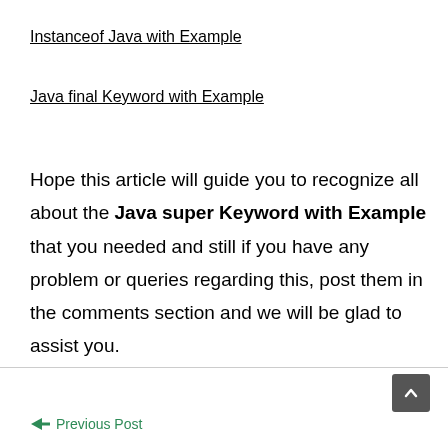Instanceof Java with Example
Java final Keyword with Example
Hope this article will guide you to recognize all about the Java super Keyword with Example that you needed and still if you have any problem or queries regarding this, post them in the comments section and we will be glad to assist you.
Previous Post